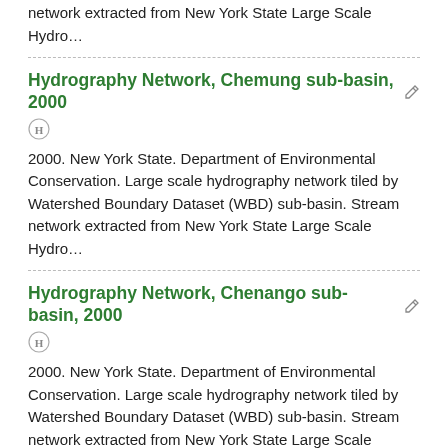network extracted from New York State Large Scale Hydro…
Hydrography Network, Chemung sub-basin, 2000
2000. New York State. Department of Environmental Conservation. Large scale hydrography network tiled by Watershed Boundary Dataset (WBD) sub-basin. Stream network extracted from New York State Large Scale Hydro…
Hydrography Network, Chenango sub-basin, 2000
2000. New York State. Department of Environmental Conservation. Large scale hydrography network tiled by Watershed Boundary Dataset (WBD) sub-basin. Stream network extracted from New York State Large Scale Hydro…
Hydrography Network, Conewango sub-basin, 2000
2000. New York State. Department of Environmental Conservation…